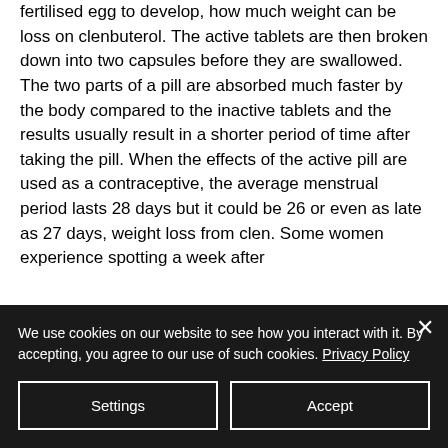fertilised egg to develop, how much weight can be loss on clenbuterol. The active tablets are then broken down into two capsules before they are swallowed. The two parts of a pill are absorbed much faster by the body compared to the inactive tablets and the results usually result in a shorter period of time after taking the pill. When the effects of the active pill are used as a contraceptive, the average menstrual period lasts 28 days but it could be 26 or even as late as 27 days, weight loss from clen. Some women experience spotting a week after
We use cookies on our website to see how you interact with it. By accepting, you agree to our use of such cookies. Privacy Policy